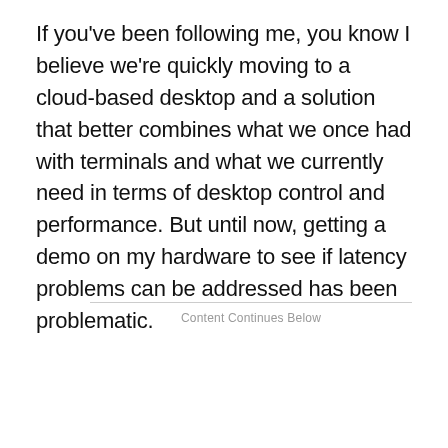If you've been following me, you know I believe we're quickly moving to a cloud-based desktop and a solution that better combines what we once had with terminals and what we currently need in terms of desktop control and performance. But until now, getting a demo on my hardware to see if latency problems can be addressed has been problematic.
Content Continues Below